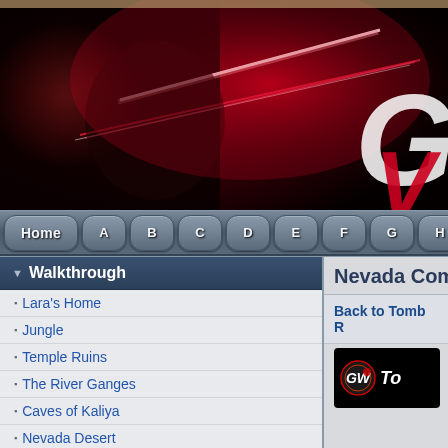[Figure (illustration): Dark fantasy banner showing a female warrior archer (Lara Croft style) drawing a bow, with red dramatic lighting and a large 'G' logo partially visible on the right. Dark red and black color scheme.]
Home A B C D E F G H J K
Walkthrough
Nevada Com
Lara's Home
Jungle
Temple Ruins
The River Ganges
Caves of Kaliya
Nevada Desert
Nevada Compound
Back to Tomb R
[Figure (logo): GamersWiki (GW) logo in circular design on black background, followed by partial text 'To']